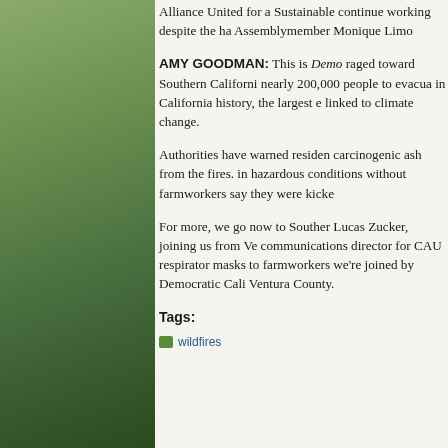Alliance United for a Sustainable continue working despite the ha Assemblymember Monique Limo
AMY GOODMAN: This is Demo raged toward Southern Californi nearly 200,000 people to evacua in California history, the largest e linked to climate change.
Authorities have warned residen carcinogenic ash from the fires. in hazardous conditions without farmworkers say they were kicke
For more, we go now to Souther Lucas Zucker, joining us from Ve communications director for CAU respirator masks to farmworkers we're joined by Democratic Cali Ventura County.
Tags:
wildfires